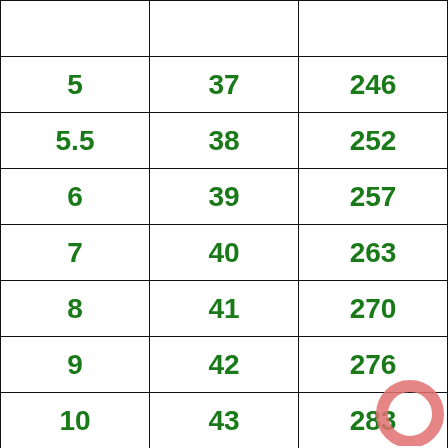|  |  |  |
| 5 | 37 | 246 |
| 5.5 | 38 | 252 |
| 6 | 39 | 257 |
| 7 | 40 | 263 |
| 8 | 41 | 270 |
| 9 | 42 | 276 |
| 10 | 43 | 283 |
|  |  |  |